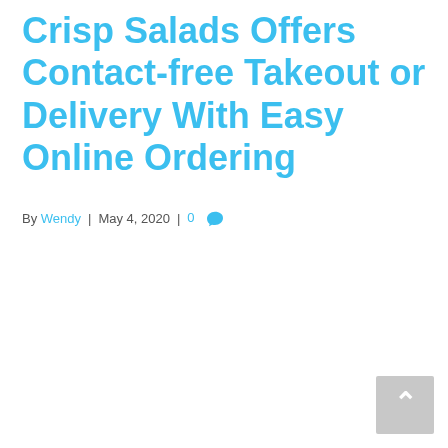Crisp Salads Offers Contact-free Takeout or Delivery With Easy Online Ordering
By Wendy | May 4, 2020 | 0